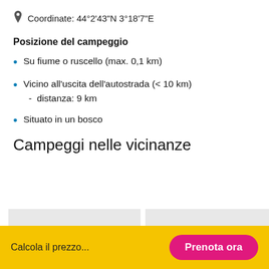Coordinate: 44°2'43"N 3°18'7"E
Posizione del campeggio
Su fiume o ruscello (max. 0,1 km)
Vicino all'uscita dell'autostrada (< 10 km)
  -  distanza: 9 km
Situato in un bosco
Campeggi nelle vicinanze
[Figure (other): Two grey placeholder card images for nearby campgrounds]
Calcola il prezzo...
Prenota ora